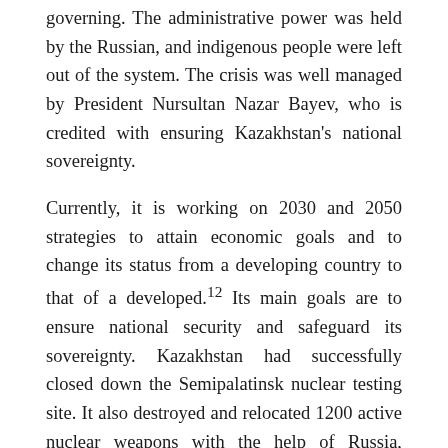governing. The administrative power was held by the Russian, and indigenous people were left out of the system. The crisis was well managed by President Nursultan Nazar Bayev, who is credited with ensuring Kazakhstan's national sovereignty.
Currently, it is working on 2030 and 2050 strategies to attain economic goals and to change its status from a developing country to that of a developed.12 Its main goals are to ensure national security and safeguard its sovereignty. Kazakhstan had successfully closed down the Semipalatinsk nuclear testing site. It also destroyed and relocated 1200 active nuclear weapons with the help of Russia, China, the US, and international institutions like IAEA that contributed positively to its international image.